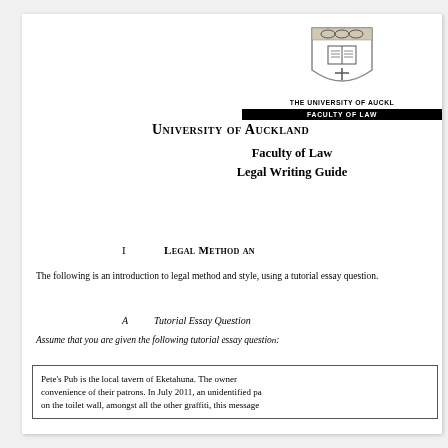[Figure (logo): University of Auckland Faculty of Law shield logo with text THE UNIVERSITY OF AUCKLAND and FACULTY OF LAW bar]
University of Auckland
Faculty of Law
Legal Writing Guide
I   Legal Method and...
The following is an introduction to legal method and style, using a tutorial essay question.
A   Tutorial Essay Question
Assume that you are given the following tutorial essay question:
Pete's Pub is the local tavern of Eketahuna. The owner... convenience of their patrons. In July 2011, an unidentified pa... on the toilet wall, amongst all the other graffiti, this message...